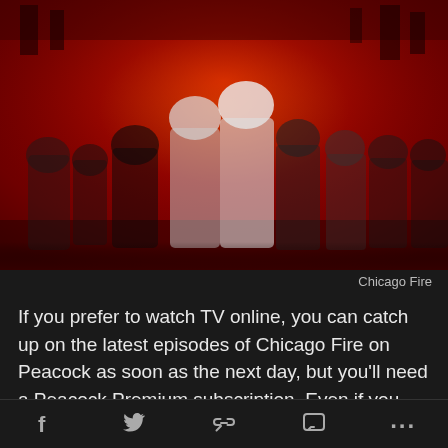[Figure (photo): Promotional cast photo for Chicago Fire TV show, with cast members posed against a dramatic red-tinted background]
Chicago Fire
If you prefer to watch TV online, you can catch up on the latest episodes of Chicago Fire on Peacock as soon as the next day, but you'll need a Peacock Premium subscription. Even if you only use Peacock's free version, you can watch previous seasons of Chicago Fire (as well as Chicago Med or Chicago P.D.). Previous seasons of
f  🐦  🔗  💬  ...